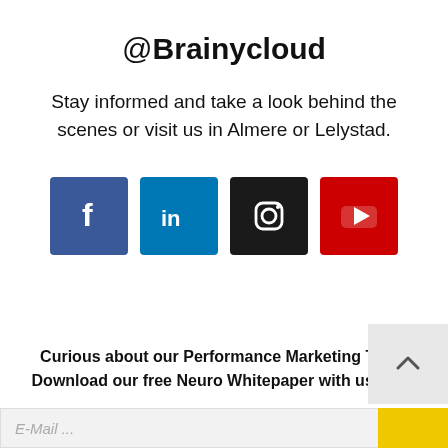@Brainycloud
Stay informed and take a look behind the scenes or visit us in Almere or Lelystad.
[Figure (infographic): Four social media icons in colored squares: Facebook (blue), LinkedIn (blue), Instagram (black), YouTube (red)]
Curious about our Performance Marketing Tips? Download our free Neuro Whitepaper with useful ti